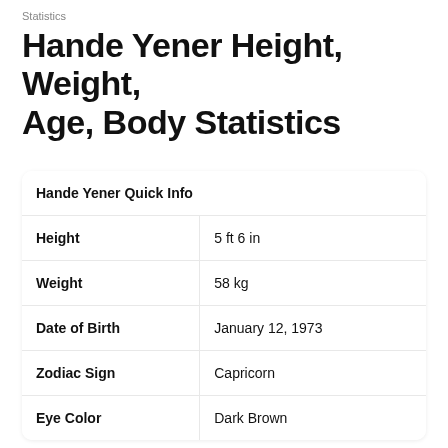Statistics
Hande Yener Height, Weight, Age, Body Statistics
| Hande Yener Quick Info |  |
| --- | --- |
| Height | 5 ft 6 in |
| Weight | 58 kg |
| Date of Birth | January 12, 1973 |
| Zodiac Sign | Capricorn |
| Eye Color | Dark Brown |